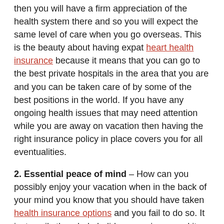then you will have a firm appreciation of the health system there and so you will expect the same level of care when you go overseas. This is the beauty about having expat heart health insurance because it means that you can go to the best private hospitals in the area that you are and you can be taken care of by some of the best positions in the world. If you have any ongoing health issues that may need attention while you are away on vacation then having the right insurance policy in place covers you for all eventualities.
2. Essential peace of mind – How can you possibly enjoy your vacation when in the back of your mind you know that you should have taken health insurance options and you fail to do so. It just spoils the whole holiday experience and it stops you from trying out new things that you've never done before. With the right expat health insurance in place, you can enjoy your holiday to fulfillment and in the unlikely event that something does occur, you will know that you are more than covered.